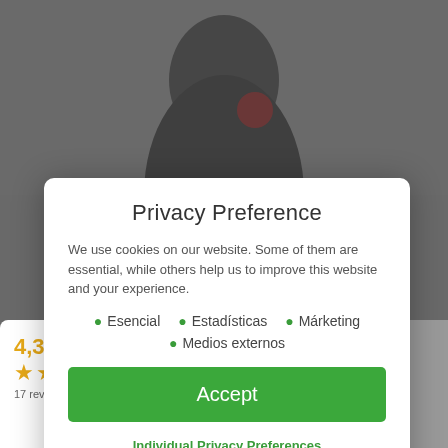[Figure (screenshot): Background showing a darkened webpage with a product image (person in dark clothing) at the top, and a product rating card (4.3 stars, 17 reviews) at the bottom left.]
Privacy Preference
We use cookies on our website. Some of them are essential, while others help us to improve this website and your experience.
Esencial
Estadísticas
Márketing
Medios externos
Accept
Individual Privacy Preferences
Cookie Details | Privacy Policy | Imprint